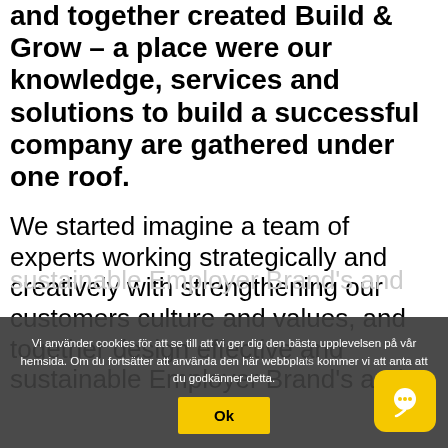and together created Build & Grow – a place were our knowledge, services and solutions to build a successful company are gathered under one roof.
We started imagine a team of experts working strategically and creatively with strengthening our customers culture and values, and together design effective and sustainable Employer Brand's and ... company ... rm growth plan!
Vi använder cookies för att se till att vi ger dig den bästa upplevelsen på vår hemsida. Om du fortsätter att använda den här webbplats kommer vi att anta att du godkänner detta.